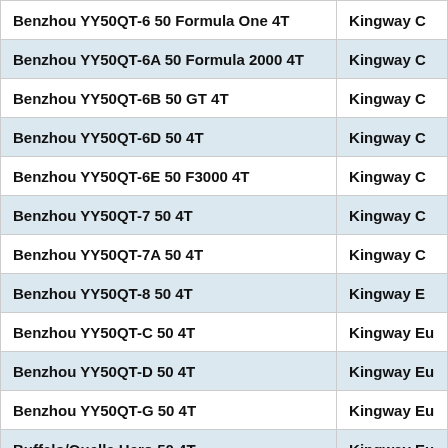| Model | Brand |
| --- | --- |
| Benzhou YY50QT-6 50 Formula One 4T | Kingway C |
| Benzhou YY50QT-6A 50 Formula 2000 4T | Kingway C |
| Benzhou YY50QT-6B 50 GT 4T | Kingway C |
| Benzhou YY50QT-6D 50 4T | Kingway C |
| Benzhou YY50QT-6E 50 F3000 4T | Kingway C |
| Benzhou YY50QT-7 50 4T | Kingway C |
| Benzhou YY50QT-7A 50 4T | Kingway C |
| Benzhou YY50QT-8 50 4T | Kingway E |
| Benzhou YY50QT-C 50 4T | Kingway Eu |
| Benzhou YY50QT-D 50 4T | Kingway Eu |
| Benzhou YY50QT-G 50 4T | Kingway Eu |
| Buffalo/Quelle Hero 50 4T | Kingway Eu |